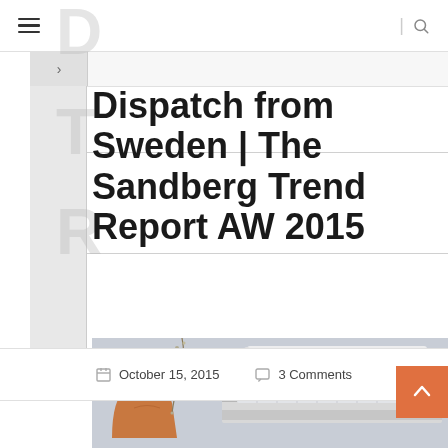☰  |  🔍
Dispatch from Sweden | The Sandberg Trend Report AW 2015
October 15, 2015   3 Comments
[Figure (photo): Photo of folded fabric swatches in grey and striped patterns with a brown leather boot and dried floral sprigs, styled on a light blue-grey surface.]